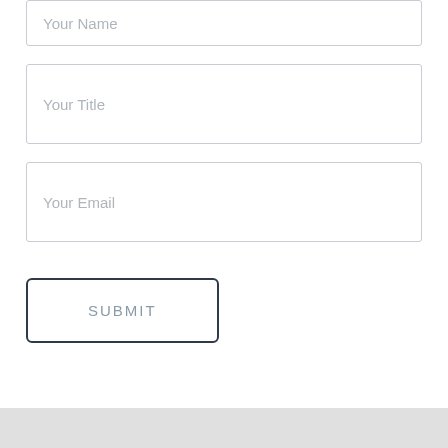Your Name
Your Title
Your Email
SUBMIT